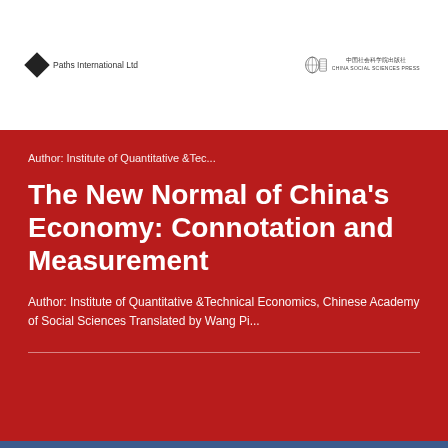[Figure (logo): Paths International Ltd diamond logo with text on the left side of the header]
[Figure (logo): China Social Sciences Press logo with Chinese characters on the right side of the header]
Author: Institute of Quantitative &Tec...
The New Normal of China's Economy: Connotation and Measurement
Author: Institute of Quantitative &Technical Economics, Chinese Academy of Social Sciences Translated by Wang Pi...